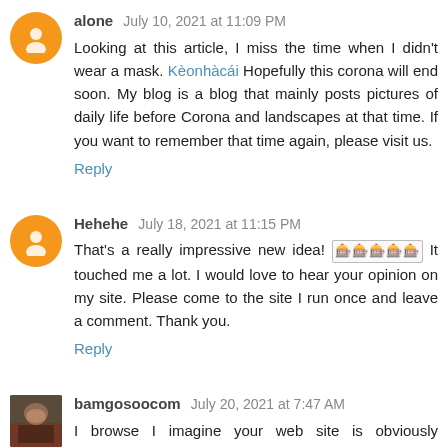alone July 10, 2021 at 11:09 PM
Looking at this article, I miss the time when I didn't wear a mask. Kèonhàcái Hopefully this corona will end soon. My blog is a blog that mainly posts pictures of daily life before Corona and landscapes at that time. If you want to remember that time again, please visit us.
Reply
Hehehe July 18, 2021 at 11:15 PM
That's a really impressive new idea! 🎰🎰🎰🎰🎰 It touched me a lot. I would love to hear your opinion on my site. Please come to the site I run once and leave a comment. Thank you.
Reply
bamgosoocom July 20, 2021 at 7:47 AM
I browse I imagine your web site is obviously fascinating and weblog articles with this distinctive unique web site and b -AS acquired collections of tips which were amazing.